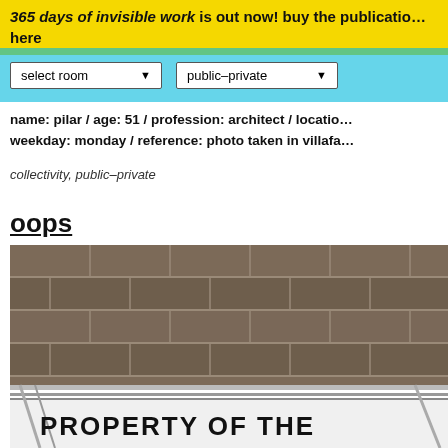365 days of invisible work is out now! buy the publication here
select room | public–private
name: pilar / age: 51 / profession: architect / location: ... / weekday: monday / reference: photo taken in villafa...
collectivity, public–private
oops
[Figure (photo): Photo of a brick wall with a sign reading 'PROPERTY OF THE' partially visible, with a metal fence/railing in front.]